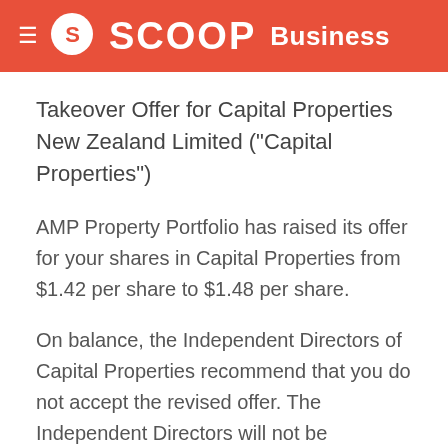SCOOP Business
Takeover Offer for Capital Properties New Zealand Limited ("Capital Properties")
AMP Property Portfolio has raised its offer for your shares in Capital Properties from $1.42 per share to $1.48 per share.
On balance, the Independent Directors of Capital Properties recommend that you do not accept the revised offer. The Independent Directors will not be accepting the offer in respect of their own shareholdings. The Independent Directors have